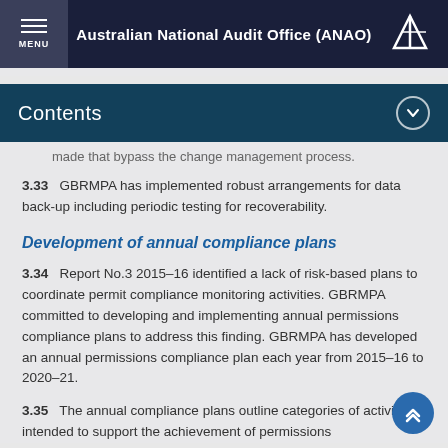Australian National Audit Office (ANAO)
Contents
made that bypass the change management process.
3.33    GBRMPA has implemented robust arrangements for data back-up including periodic testing for recoverability.
Development of annual compliance plans
3.34    Report No.3 2015–16 identified a lack of risk-based plans to coordinate permit compliance monitoring activities. GBRMPA committed to developing and implementing annual permissions compliance plans to address this finding. GBRMPA has developed an annual permissions compliance plan each year from 2015–16 to 2020–21.
3.35    The annual compliance plans outline categories of activities intended to support the achievement of permissions